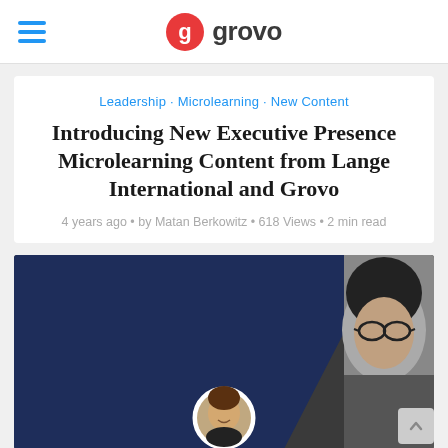grovo
Leadership · Microlearning · New Content
Introducing New Executive Presence Microlearning Content from Lange International and Grovo
4 years ago • by Matan Berkowitz • 618 Views • 2 min read
[Figure (photo): Hero image with dark navy blue diagonal background on the left and a black-and-white photo of a woman wearing glasses on the right. A circular headshot of a man (Matan Berkowitz) is overlaid at the bottom center.]